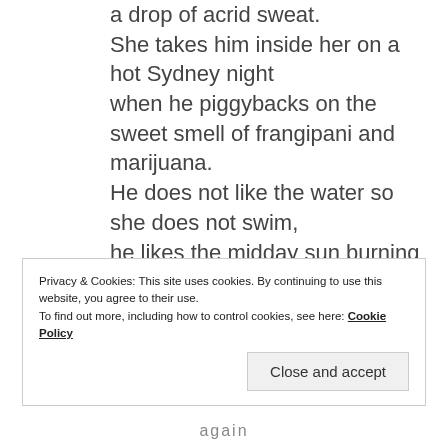a drop of acrid sweat.
She takes him inside her on a hot Sydney night
when he piggybacks on the sweet smell of frangipani and marijuana.
He does not like the water so she does not swim,
he likes the midday sun burning him
until she becomes thirsty for
Privacy & Cookies: This site uses cookies. By continuing to use this website, you agree to their use.
To find out more, including how to control cookies, see here: Cookie Policy
Close and accept
again